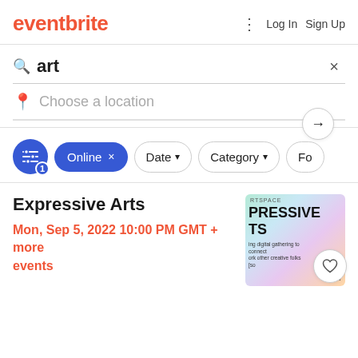eventbrite · Log In · Sign Up
art ×
Choose a location
Online × | Date ▾ | Category ▾ | Fo
Expressive Arts
Mon, Sep 5, 2022 10:00 PM GMT + more events
[Figure (screenshot): Event thumbnail for Expressive Arts showing colorful abstract background with text PRESSIVE TS and smaller text about a digital gathering]